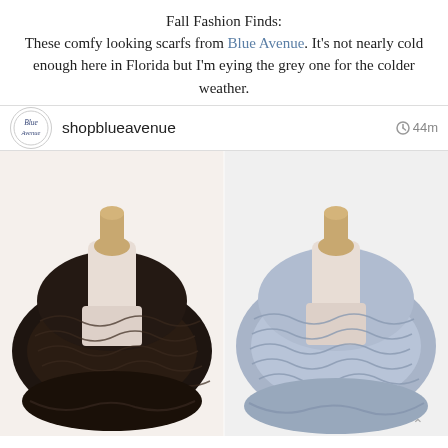Fall Fashion Finds:
These comfy looking scarfs from Blue Avenue. It's not nearly cold enough here in Florida but I'm eying the grey one for the colder weather.
[Figure (other): Instagram post header with Blue Avenue logo (cursive text in circle), username 'shopblueavenue', and timestamp '44m']
[Figure (photo): Two infinity scarves on mannequin stands side by side: a dark brown/black knit scarf on the left and a grey/blue knit scarf on the right, both displayed on white mannequin necks with wooden finials.]